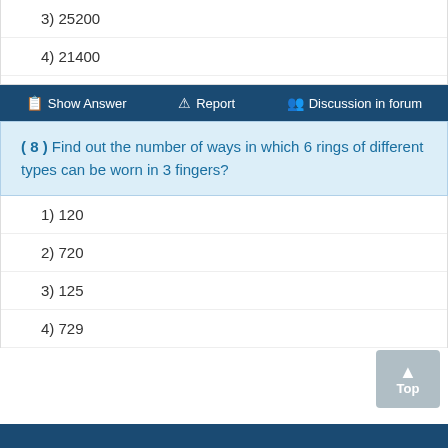3) 25200
4) 21400
Show Answer  Report  Discussion in forum
( 8 ) Find out the number of ways in which 6 rings of different types can be worn in 3 fingers?
1) 120
2) 720
3) 125
4) 729